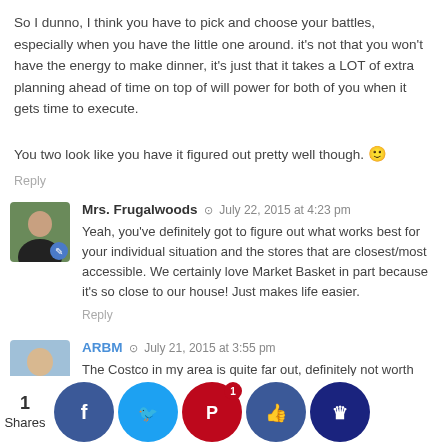So I dunno, I think you have to pick and choose your battles, especially when you have the little one around. it's not that you won't have the energy to make dinner, it's just that it takes a LOT of extra planning ahead of time on top of will power for both of you when it gets time to execute.

You two look like you have it figured out pretty well though. 🙂
Reply
Mrs. Frugalwoods  July 22, 2015 at 4:23 pm
Yeah, you've definitely got to figure out what works best for your individual situation and the stores that are closest/most accessible. We certainly love Market Basket in part because it's so close to our house! Just makes life easier.
Reply
ARBM  July 21, 2015 at 3:55 pm
The Costco in my area is quite far out, definitely not worth driving way out there... I know I pay for convenience for some things, but I am not yet a full fledged frugal weirdo...
My basis though is to buy local. I try to buy from ou
1
Shares